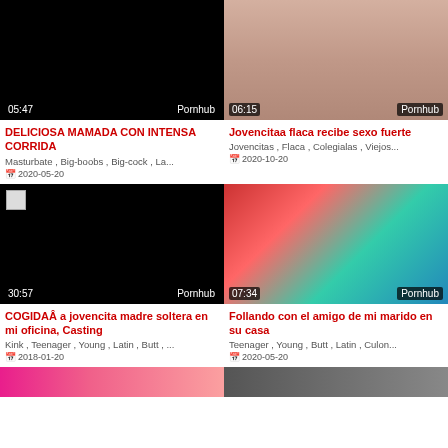[Figure (screenshot): Video thumbnail black screen with time 05:47 and Pornhub badge]
DELICIOSA MAMADA CON INTENSA CORRIDA
Masturbate , Big-boobs , Big-cock , La...
2020-05-20
[Figure (photo): Video thumbnail showing adult content with time 06:15 and Pornhub badge]
Jovencitaa flaca recibe sexo fuerte
Jovencitas , Flaca , Colegialas , Viejos...
2020-10-20
[Figure (screenshot): Video thumbnail black screen with time 30:57 and Pornhub badge]
COGIDAÂ a jovencita madre soltera en mi oficina, Casting
Kink , Teenager , Young , Latin , Butt , ...
2018-01-20
[Figure (photo): Video thumbnail showing adult content scene with time 07:34 and Pornhub badge]
Follando con el amigo de mi marido en su casa
Teenager , Young , Butt , Latin , Culon...
2020-05-20
[Figure (photo): Bottom strip showing two more video thumbnails partially visible]